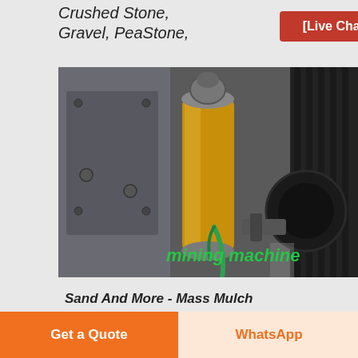Crushed Stone, Gravel, PeaStone,
[Live Chat]
[Figure (photo): Close-up photograph of a mining machine showing a yellow cylindrical component, grey metal frame, belt/pulley system, and a green hose. Text overlay reads 'mining machine' in green italic font.]
Sand And More - Mass Mulch
Crushed Stone and Gravel Delivered Price Chart (with tax) Orders under 5 yards have a under the minimum fee included in the
Get a Quote
WhatsApp